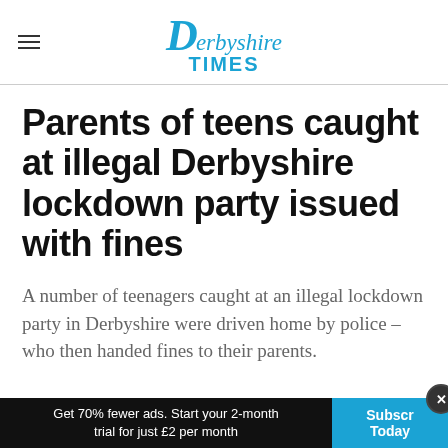Derbyshire Times
Parents of teens caught at illegal Derbyshire lockdown party issued with fines
A number of teenagers caught at an illegal lockdown party in Derbyshire were driven home by police – who then handed fines to their parents.
Get 70% fewer ads. Start your 2-month trial for just £2 per month   Subscribe Today